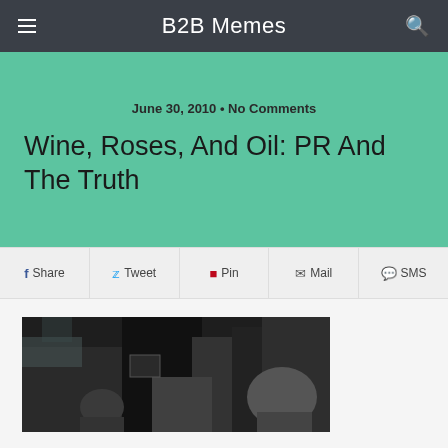B2B Memes
June 30, 2010 • No Comments
Wine, Roses, And Oil: PR And The Truth
Share
Tweet
Pin
Mail
SMS
[Figure (photo): Dark grayscale photo showing silhouettes of people in what appears to be an indoor setting]